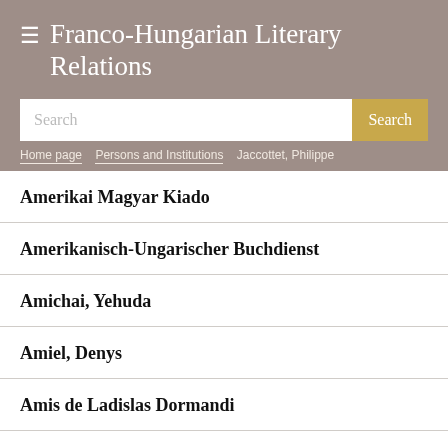Franco-Hungarian Literary Relations
Search
Home page > Persons and Institutions > Jaccottet, Philippe
Amerikai Magyar Kiado
Amerikanisch-Ungarischer Buchdienst
Amichai, Yehuda
Amiel, Denys
Amis de Ladislas Dormandi